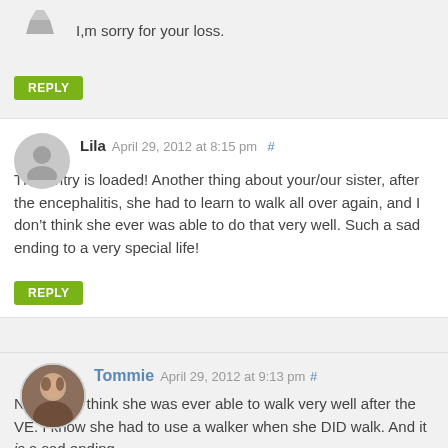I,m sorry for your loss.
REPLY
Lila April 29, 2012 at 8:15 pm #
This entry is loaded! Another thing about your/our sister, after the encephalitis, she had to learn to walk all over again, and I don’t think she ever was able to do that very well. Such a sad ending to a very special life!
REPLY
Tommie April 29, 2012 at 9:13 pm #
No, I don’t think she was ever able to walk very well after the VE. I know she had to use a walker when she DID walk. And it is a sad ending…